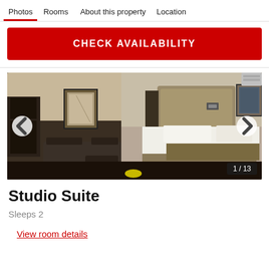Photos  Rooms  About this property  Location
CHECK AVAILABILITY
[Figure (photo): Hotel studio suite interior showing bed with white linens and tan throw, upholstered headboard, wall art, wall sconces, dark wood floors, and sitting area with sofa. Image counter shows 1/13.]
Studio Suite
Sleeps 2
View room details